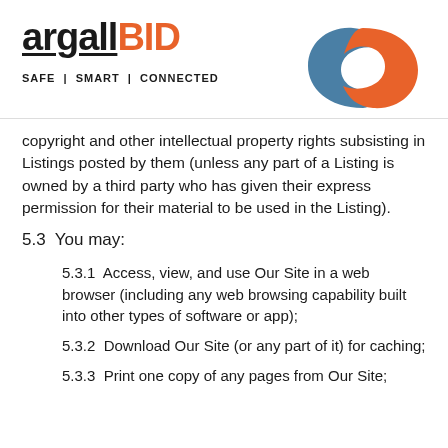[Figure (logo): argallBID logo with tagline SAFE | SMART | CONNECTED and two interlocking circle graphic in blue and orange]
copyright and other intellectual property rights subsisting in Listings posted by them (unless any part of a Listing is owned by a third party who has given their express permission for their material to be used in the Listing).
5.3  You may:
5.3.1  Access, view, and use Our Site in a web browser (including any web browsing capability built into other types of software or app);
5.3.2  Download Our Site (or any part of it) for caching;
5.3.3  Print one copy of any pages from Our Site;